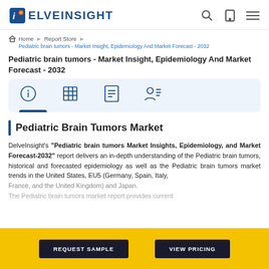[Figure (logo): DelveInsight logo with stylized 'i' icon and blue text]
Home > Report Store > Pediatric brain tumors - Market Insight, Epidemiology And Market Forecast - 2032
Pediatric brain tumors - Market Insight, Epidemiology And Market Forecast - 2032
[Figure (infographic): Tab bar with four icons: info circle, table grid, document list, person with list — on light blue background]
Pediatric Brain Tumors Market
DelveInsight's "Pediatric brain tumors Market Insights, Epidemiology, and Market Forecast-2032" report delivers an in-depth understanding of the Pediatric brain tumors, historical and forecasted epidemiology as well as the Pediatric brain tumors market trends in the United States, EU5 (Germany, Spain, Italy, France, and the United Kingdom) and Japan.
The Pediatric brain tumors market report provides current...
REQUEST SAMPLE | VIEW PRICING